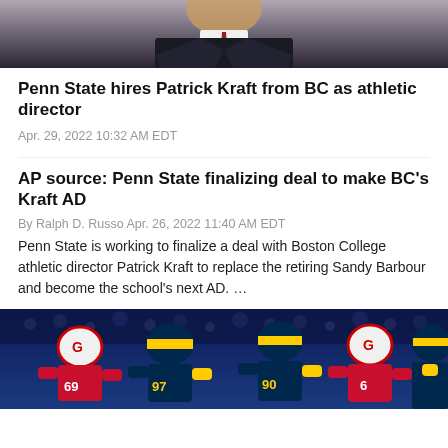[Figure (photo): Photo of a man in a dark suit with a red tie, cropped to show collar and lower face area]
Penn State hires Patrick Kraft from BC as athletic director
Apr. 29, 2022 10:32 AM EDT
AP source: Penn State finalizing deal to make BC's Kraft AD
By Ralph D. Russo Apr. 26, 2022 11:40 AM EDT
Penn State is working to finalize a deal with Boston College athletic director Patrick Kraft to replace the retiring Sandy Barbour and become the school's next AD. …
[Figure (photo): Football game action photo showing Michigan (navy/yellow jerseys, numbers 97, 90) versus Georgia (red jerseys, numbers 69, 6) players during a game]